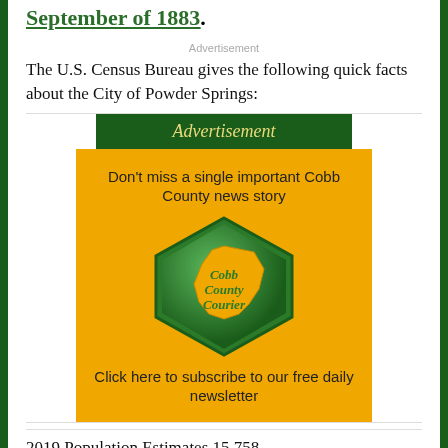The City of Powder Springs was incorporated in September of 1883.
Advertisement
The U.S. Census Bureau gives the following quick facts about the City of Powder Springs:
[Figure (infographic): Advertisement block with dark green header bar reading 'Advertisement' in italic gold text, followed by a yellow/gold box containing the text 'Don't miss a single important Cobb County news story', a green hexagon logo with 'Cobb County Courier' text inside on a yellow map shape, and below that 'Click here to subscribe to our free daily newsletter'.]
2019 Population Estimates 15,758